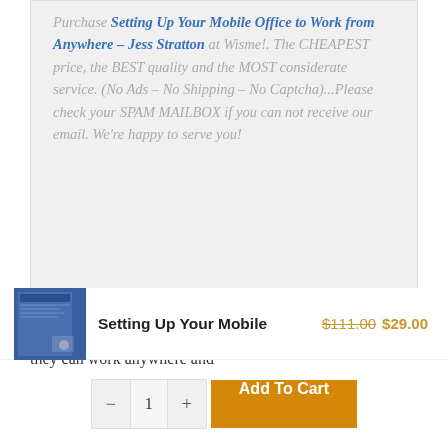Purchase Setting Up Your Mobile Office to Work from Anywhere – Jess Stratton at Wisme!. The CHEAPEST price, the BEST quality and the MOST considerate service. (No Ads – No Shipping – No Captcha)...Please check your SPAM MAILBOX if you can not receive our email. We're happy to serve you!
Workers today are not just confined to a cube or an office—they can work anywhere and
Setting Up Your Mobile
$111.00 $29.00
- 1 + Add To Cart